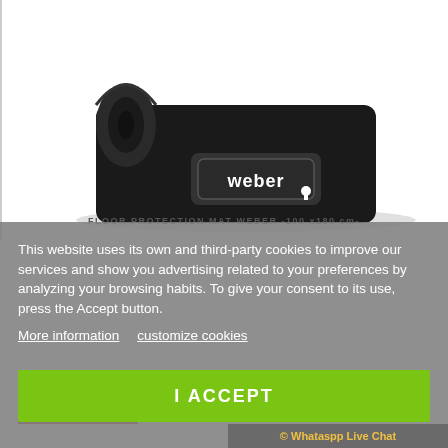[Figure (photo): Black rolled floor protection mat with Weber logo in white, partially unrolled, shown on white background]
FLOOR PROTECTION MAT WEBER -100 x180 cm-
This website uses its own and third-party cookies to improve our services and show you advertising related to your preferences by analyzing your browsing habits. To give your consent to its use, press the Accept button.
More information   customize cookies
I ACCEPT
© Whataspp Live Chat